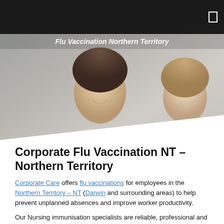Flu Vaccination Northern Territory
[Figure (photo): Header photo of two smiling women looking down, with a navigation bar overlay at top]
Corporate Flu Vaccination NT – Northern Territory
Corporate Care offers flu vaccinations for employees in the Northern Territory – NT (Darwin and surrounding areas) to help prevent unplanned absences and improve worker productivity.
Our Nursing immunisation specialists are reliable, professional and experienced in offering workplace flu vaccinations at your convenience. To facilitate the flu vaccination process and your work, employees can return to their everyday work routines after their flu or influenza shot.
If employees miss the onsite flu vaccination, there are partner clinics or pharmacists conveniently located to offer the service at